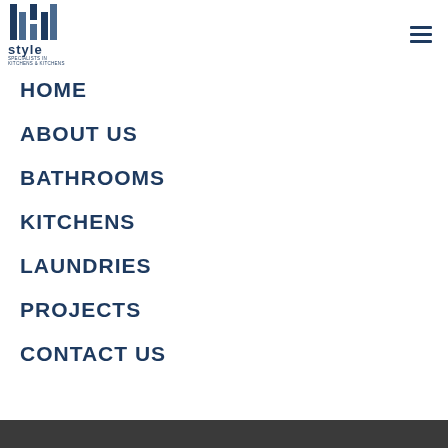[Figure (logo): Style brand logo with stylized 'S' letters and text reading 'style' with tagline below]
HOME
ABOUT US
BATHROOMS
KITCHENS
LAUNDRIES
PROJECTS
CONTACT US